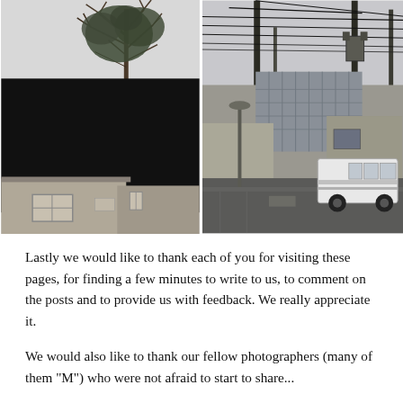[Figure (photo): Two black-and-white photographs side by side. Left: a large black rectangular structure/wall with a bare tree visible above it, and a small building with a window in the lower-left corner. Right: an urban street scene with utility poles, power lines, commercial buildings, and a white van parked on a wet parking lot.]
Lastly we would like to thank each of you for visiting these pages, for finding a few minutes to write to us, to comment on the posts and to provide us with feedback. We really appreciate it.
We would also like to thank our fellow photographers (many of them "M") who were not afraid to start to share...